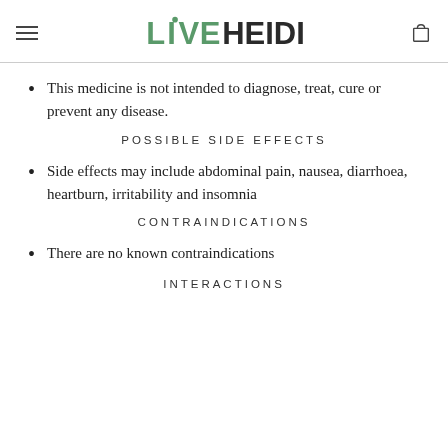LIVEHEIDI
This medicine is not intended to diagnose, treat, cure or prevent any disease.
POSSIBLE SIDE EFFECTS
Side effects may include abdominal pain, nausea, diarrhoea, heartburn, irritability and insomnia
CONTRAINDICATIONS
There are no known contraindications
INTERACTIONS